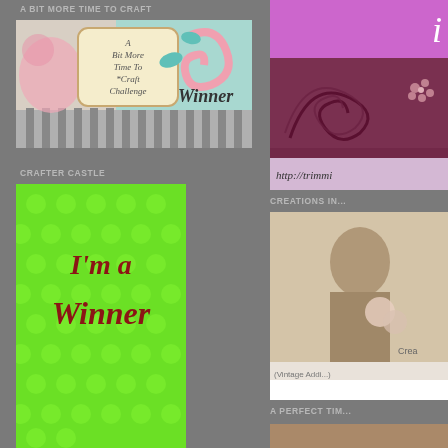A BIT MORE TIME TO CRAFT
[Figure (illustration): A Bit More Time To Craft Challenge Winner badge — decorative image with pink swirls, teal diamond shapes, a cream-colored label reading 'A Bit More Time To Craft Challenge', and the word 'Winner' in cursive script]
CRAFTER CASTLE
[Figure (illustration): Green polka-dot background with dark red cursive text reading 'I'm a Winner']
[Figure (illustration): Purple/magenta banner with italic text beginning with 'i' — partial view of a sidebar banner]
[Figure (illustration): Dark pink/mauve decorative image with swirling pattern and small flower motif]
[Figure (screenshot): Light purple bar with URL text 'http://trimmi...']
CREATIONS IN...
[Figure (photo): Vintage sepia photo of a young girl or woman holding flowers, with text 'Crea' and '(Vintage Addi...)' visible]
A PERFECT TIM...
[Figure (photo): Partial bottom image visible — reddish-brown tones]